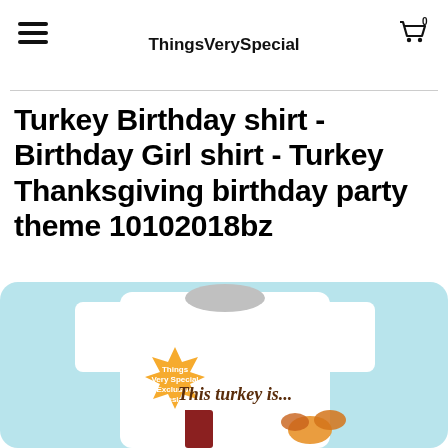ThingsVerySpecial
Turkey Birthday shirt - Birthday Girl shirt - Turkey Thanksgiving birthday party theme 10102018bz
[Figure (photo): Product image of a white t-shirt with a turkey birthday graphic on a light blue background. An orange starburst badge reads 'Things Very Special Exclusive Design'. The shirt graphic shows 'This turkey is...' text with the number 1 and autumn leaf decorations.]